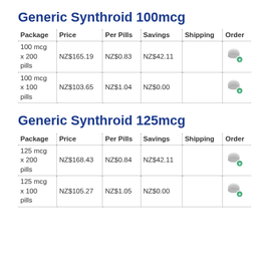Generic Synthroid 100mcg
| Package | Price | Per Pills | Savings | Shipping | Order |
| --- | --- | --- | --- | --- | --- |
| 100 mcg x 200 pills | NZ$165.19 | NZ$0.83 | NZ$42.11 |  | [order] |
| 100 mcg x 100 pills | NZ$103.65 | NZ$1.04 | NZ$0.00 |  | [order] |
Generic Synthroid 125mcg
| Package | Price | Per Pills | Savings | Shipping | Order |
| --- | --- | --- | --- | --- | --- |
| 125 mcg x 200 pills | NZ$168.43 | NZ$0.84 | NZ$42.11 |  | [order] |
| 125 mcg x 100 pills | NZ$105.27 | NZ$1.05 | NZ$0.00 |  | [order] |